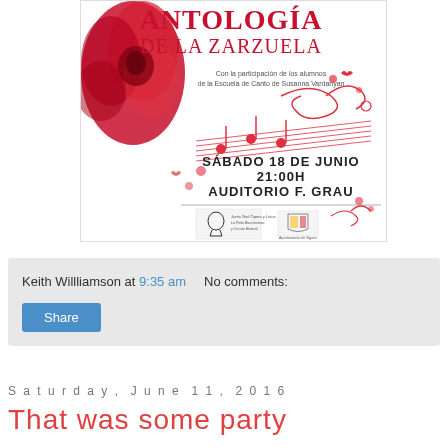[Figure (illustration): Event poster for 'Antología de la Zarzuela' showing a red rose, decorative musical staff with floral swirls, text: 'Con la participación de los alumnos de la Escuela de Canto de Susanna Vardanyan', 'SÁBADO 18 DE JUNIO 21:00H AUDITORIO F. GRAU', with two institutional logos at the bottom.]
Keith Willliamson at 9:35 am    No comments:
Share
Saturday, June 11, 2016
That was some party